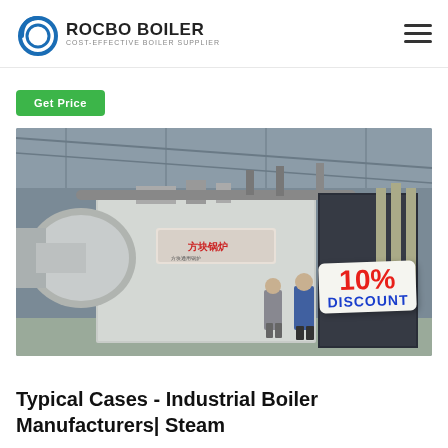ROCBO BOILER - COST-EFFECTIVE BOILER SUPPLIER
Get Price
[Figure (photo): Industrial boiler equipment in a factory setting. A large silver/metallic steam boiler with Chinese branding is shown with two workers standing nearby. The facility has a metal roof structure. A '10% DISCOUNT' badge is overlaid in the bottom-right corner of the image.]
Typical Cases - Industrial Boiler Manufacturers| Steam